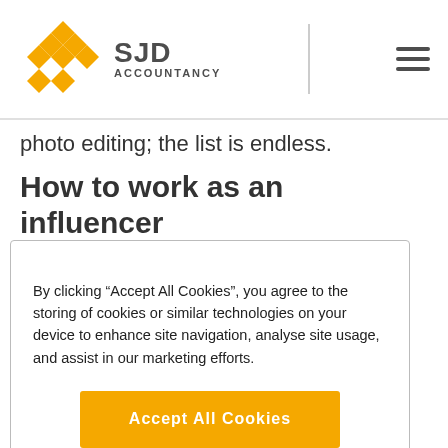SJD ACCOUNTANCY
photo editing; the list is endless.
How to work as an influencer
By clicking “Accept All Cookies”, you agree to the storing of cookies or similar technologies on your device to enhance site navigation, analyse site usage, and assist in our marketing efforts.
Accept All Cookies
Reject